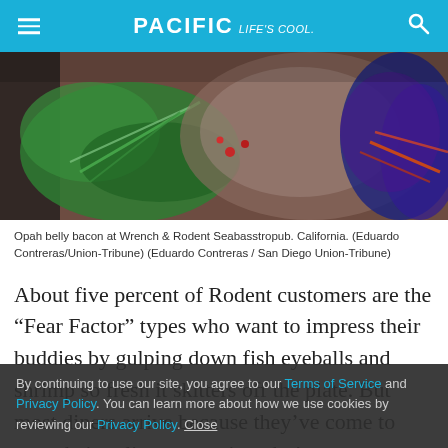PACIFIC Life's cool
[Figure (photo): Close-up food photo showing opah belly bacon with rosemary herbs and dark berries on a wooden surface at Wrench & Rodent Seabasstropub, California.]
Opah belly bacon at Wrench & Rodent Seabasstropub. California. (Eduardo Contreras/Union-Tribune) (Eduardo Contreras / San Diego Union-Tribune)
About five percent of Rodent customers are the “Fear Factor” types who want to impress their buddies by gulping down fish eyeballs and shrimp so fresh it skitters off the plate. But most diners arrive because they’ve come to trust their culinary captain, who’s
By continuing to use our site, you agree to our Terms of Service and Privacy Policy. You can learn more about how we use cookies by reviewing our Privacy Policy. Close